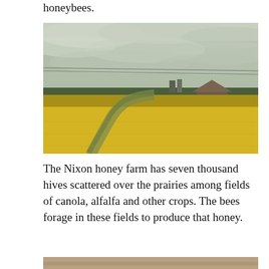honeybees.
[Figure (photo): A prairie landscape showing a dirt path curving through bright yellow canola fields under a cloudy sky, with a wooden barn structure and trees visible in the background.]
The Nixon honey farm has seven thousand hives scattered over the prairies among fields of canola, alfalfa and other crops. The bees forage in these fields to produce that honey.
[Figure (photo): Partial view of a second photo at the bottom of the page, showing a tan/brown landscape.]